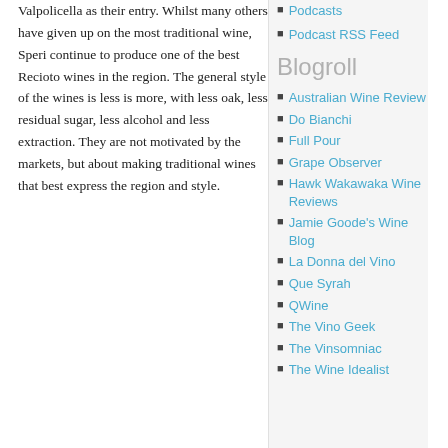Valpolicella as their entry. Whilst many others have given up on the most traditional wine, Speri continue to produce one of the best Recioto wines in the region. The general style of the wines is less is more, with less oak, less residual sugar, less alcohol and less extraction. They are not motivated by the markets, but about making traditional wines that best express the region and style.
Podcasts
Podcast RSS Feed
Blogroll
Australian Wine Review
Do Bianchi
Full Pour
Grape Observer
Hawk Wakawaka Wine Reviews
Jamie Goode's Wine Blog
La Donna del Vino
Que Syrah
QWine
The Vino Geek
The Vinsomniac
The Wine Idealist